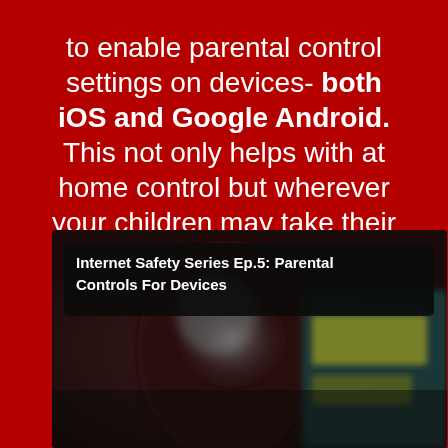to enable parental control settings on devices- both iOS and Google Android. This not only helps with at home control but wherever your children may take their devices!
[Figure (screenshot): Video thumbnail for 'Internet Safety Series Ep.5: Parental Controls For Devices' showing a blurred video still with a dark title overlay bar containing bold white text.]